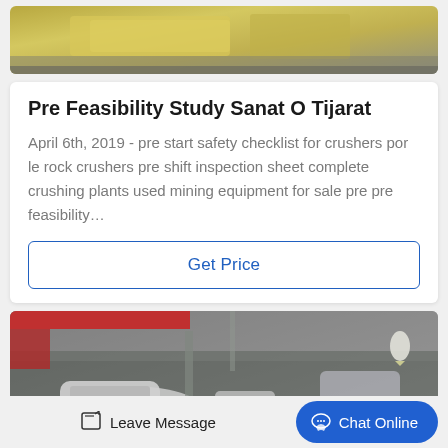[Figure (photo): Top portion of image showing yellow/industrial machinery parts on a concrete floor]
Pre Feasibility Study Sanat O Tijarat
April 6th, 2019 - pre start safety checklist for crushers por le rock crushers pre shift inspection sheet complete crushing plants used mining equipment for sale pre pre feasibility…
Get Price
[Figure (photo): Industrial facility interior showing heavy crushing/mining machinery, red crane beam visible at top, large grey equipment in foreground]
Leave Message
Chat Online